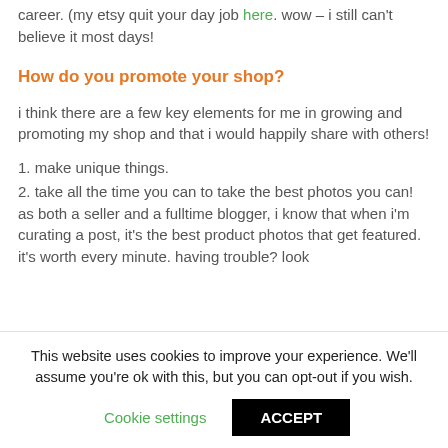career. (my etsy quit your day job here. wow – i still can't believe it most days!
How do you promote your shop?
i think there are a few key elements for me in growing and promoting my shop and that i would happily share with others!
1. make unique things.
2. take all the time you can to take the best photos you can! as both a seller and a fulltime blogger, i know that when i'm curating a post, it's the best product photos that get featured. it's worth every minute. having trouble? look
This website uses cookies to improve your experience. We'll assume you're ok with this, but you can opt-out if you wish.
Cookie settings  ACCEPT